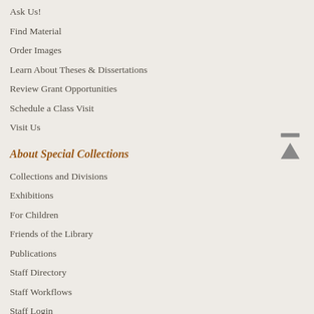Ask Us!
Find Material
Order Images
Learn About Theses & Dissertations
Review Grant Opportunities
Schedule a Class Visit
Visit Us
About Special Collections
Collections and Divisions
Exhibitions
For Children
Friends of the Library
Publications
Staff Directory
Staff Workflows
Staff Login
Princeton University Library